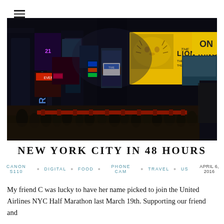≡
[Figure (photo): Nighttime photo of Times Square, New York City, showing bright billboards including The Lion King musical advertisement and Broadway signs, with a crowd of people on the street below.]
NEW YORK CITY IN 48 HOURS
CANON S110   DIGITAL   FOOD   PHONE CAM   TRAVEL   US   APRIL 6, 2016
My friend C was lucky to have her name picked to join the United Airlines NYC Half Marathon last March 19th. Supporting our friend and